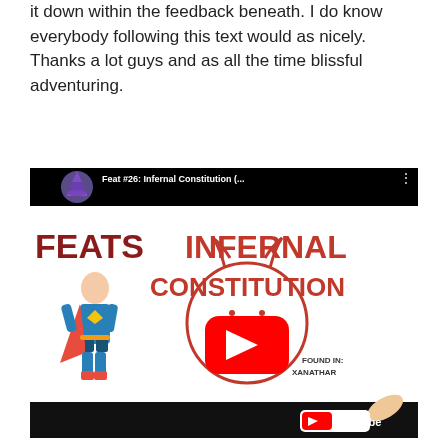it down within the feedback beneath. I do know everybody following this text would as nicely. Thanks a lot guys and as all the time blissful adventuring.
[Figure (screenshot): YouTube video thumbnail for 'Feat #26: Infernal Constitution (...' showing a superhero figure in blue/red costume on the left, and a red devil face drawn in circle with horns in the center, with text 'FEATS INFERNAL CONSTITUTION' in red bold letters. Bottom right shows 'FOUND IN: XANATHAR' text and YouTube logo.]